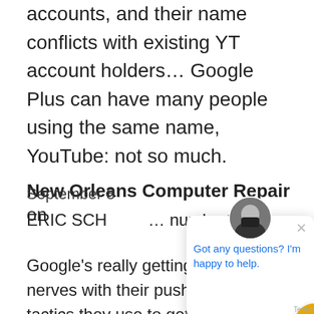accounts, and their name conflicts with existing YT account holders… Google Plus can have many people using the same name, YouTube: not so much.
New Orleans Computer Repair on September 8
ERIC SCH… number?"
Google's really getting on my last nerves with their pushy marketing tactics they use to get our personal
[Figure (screenshot): Chat popup with avatar photo of a man in glasses, close button X, and text 'Got any questions? I'm happy to help.' in blue. Below is a gold circular chat button with speech bubble icon.]